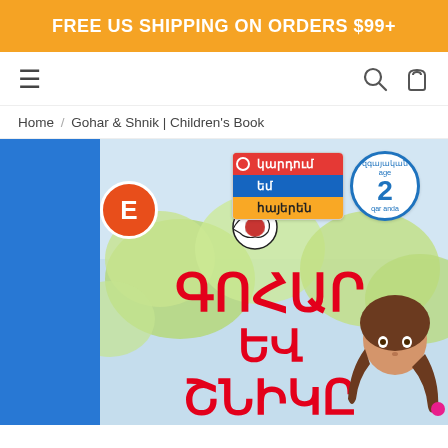FREE US SHIPPING ON ORDERS $99+
≡  🔍  🛍
Home / Gohar & Shnik | Children's Book
[Figure (illustration): Children's book cover for 'Gohar & Shnik' in Armenian. The cover shows a cartoon girl with braids and a soccer ball with Armenian text titles in red. A label badge shows Armenian text 'կարդում եմ հայերեն' (I read Armenian) with a level 2 circle badge. A blue sidebar is on the left with an orange E badge.]